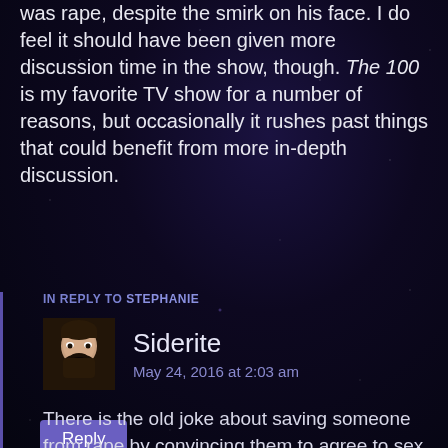was rape, despite the smirk on his face. I do feel it should have been given more discussion time in the show, though. The 100 is my favorite TV show for a number of reasons, but occasionally it rushes past things that could benefit from more in-depth discussion.
Reply
IN REPLY TO STEPHANIE
Siderite
May 24, 2016 at 2:03 am
There is the old joke about saving someone from rape by convincing them to agree to sex. There